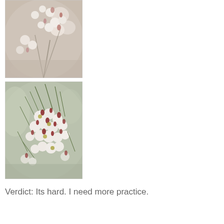[Figure (photo): Close-up photograph of small white wax flowers (Chamelaucium) with pink buds on branches, blurred background, top view angle]
[Figure (photo): Close-up photograph of white wax flowers (Chamelaucium) with red/pink buds and green needle-like leaves on branches, slightly wider view]
Verdict: Its hard. I need more practice.